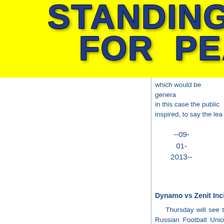[Figure (illustration): Yellow banner with large bold dark blue cracked/lightning-textured text reading STANDING FOR PEA (partially visible, cut off at right edge)]
which would be genera in this case the public inspired, to say the lea
--09-
01-
2013--
Dynamo vs Zenit Incident
Thursday will see t Russian Football Unio FC Zenit St. Petersbu the disciplinary com police are still search whose flare inju goalkeeper.